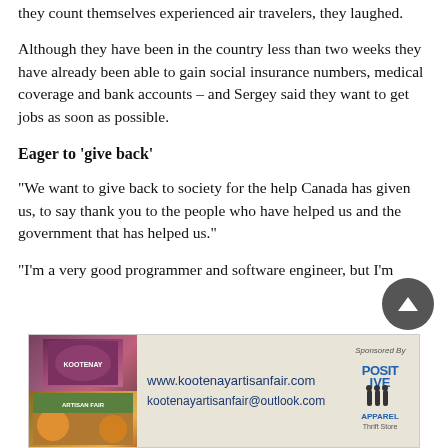they count themselves experienced air travelers, they laughed.
Although they have been in the country less than two weeks they have already been able to gain social insurance numbers, medical coverage and bank accounts – and Sergey said they want to get jobs as soon as possible.
Eager to ‘give back’
“We want to give back to society for the help Canada has given us, to say thank you to the people who have helped us and the government that has helped us.”
“I’m a very good programmer and software engineer, but I’m
[Figure (infographic): Kootenay Artisan Fair advertisement banner with website www.kootenayartisanfair.com and email kootenayartisanfair@outlook.com, Sponsored By Positive Apparel Thrift Store]